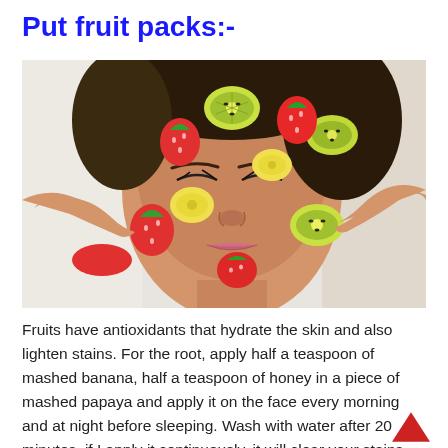Put fruit packs:-
[Figure (photo): A woman lying with eyes closed having fruit slices (strawberries, kiwi, banana slices) placed on her face as a fruit pack, with hands placing the fruits.]
Fruits have antioxidants that hydrate the skin and also lighten stains. For the root, apply half a teaspoon of mashed banana, half a teaspoon of honey in a piece of mashed papaya and apply it on the face every morning and at night before sleeping. Wash with water after 20 minutes. if I apply it continuously, it will clear your stains